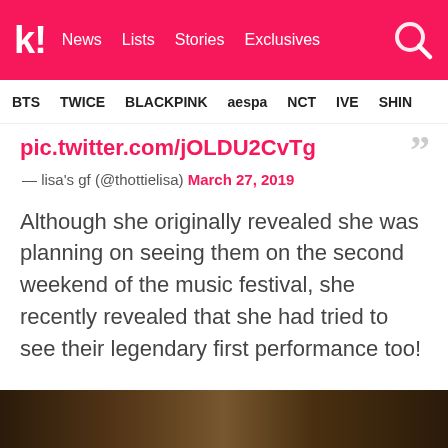k! News Lists Stories Exclusives
BTS TWICE BLACKPINK aespa NCT IVE SHIN
pic.twitter.com/jOLDU2CvTg
— lisa's gf (@thottielisa) March 27, 2019
Although she originally revealed she was planning on seeing them on the second weekend of the music festival, she recently revealed that she had tried to see their legendary first performance too!
[Figure (photo): Bottom partial image of what appears to be a dark wooden surface or venue]